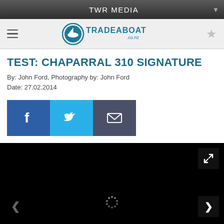TWR MEDIA
[Figure (logo): Tradeaboat.co.nz logo with circular boat icon and text TRADEABOAT .co.nz in teal/blue color]
TEST: CHAPARRAL 310 SIGNATURE
By: John Ford, Photography by: John Ford
Date: 27.02.2014
[Figure (infographic): Social sharing buttons: Facebook (blue), Twitter (light blue), Email (dark blue-grey)]
[Figure (photo): Black image area with loading spinner, previous arrow on left, expand button top right, next arrow button bottom right]